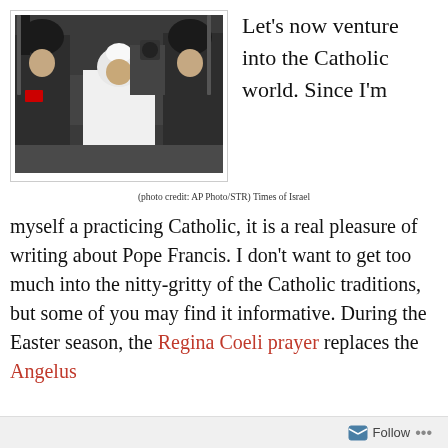[Figure (photo): Pope Francis flanked by military guards with rifles, walking on tarmac. A cameraman is visible in the background.]
(photo credit: AP Photo/STR) Times of Israel
Let's now venture into the Catholic world. Since I'm myself a practicing Catholic, it is a real pleasure of writing about Pope Francis. I don't want to get too much into the nitty-gritty of the Catholic traditions, but some of you may find it informative. During the Easter season, the Regina Coeli prayer replaces the Angelus
Follow